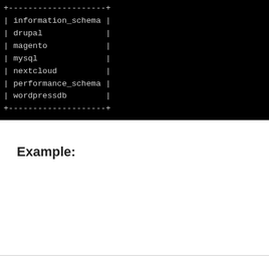[Figure (screenshot): Terminal output showing MySQL database list in ASCII table format with entries: information_schema, drupal, magento, mysql, nextcloud, performance_schema, wordpressdb]
Example: